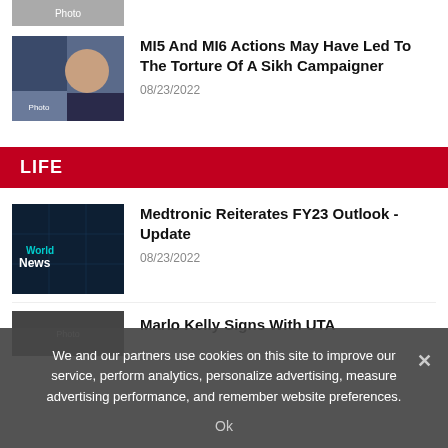[Figure (photo): Partial top image cropped at top of page]
MI5 And MI6 Actions May Have Led To The Torture Of A Sikh Campaigner
08/23/2022
LIFE
[Figure (photo): World News dark background image]
Medtronic Reiterates FY23 Outlook - Update
08/23/2022
[Figure (photo): Partial image for Marlo Kelly story]
Marlo Kelly Signs With UTA
We and our partners use cookies on this site to improve our service, perform analytics, personalize advertising, measure advertising performance, and remember website preferences.
Ok